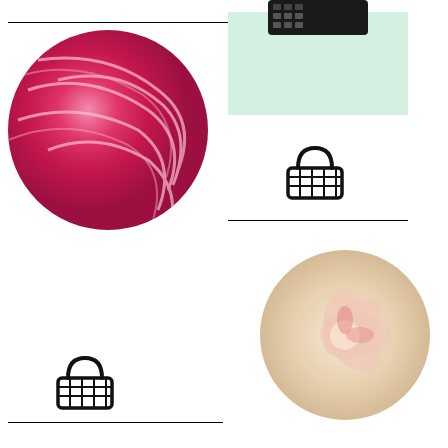[Figure (photo): Circular close-up photo of pink/magenta marble or mineral surface with swirling textures, positioned upper left]
[Figure (photo): Rectangular product image of dark device/gadget on light green background, positioned upper right]
[Figure (illustration): Shopping basket icon in black, upper right area below the product image]
[Figure (illustration): Shopping basket icon in black, left side middle area]
[Figure (photo): Circular close-up photo of cream/beige colored food or soap with floral pattern, center right]
[Figure (photo): Circular close-up photo of grey/beige surface with yellow accent, lower left]
[Figure (illustration): Shopping basket icon in black, right side lower area]
[Figure (illustration): Shopping basket icon in black, lower left area]
[Figure (photo): Circular close-up photo of orange/yellow swirled marble or soap, lower right center]
[Figure (illustration): Triangle/up arrow outline icon in grey, bottom right corner]